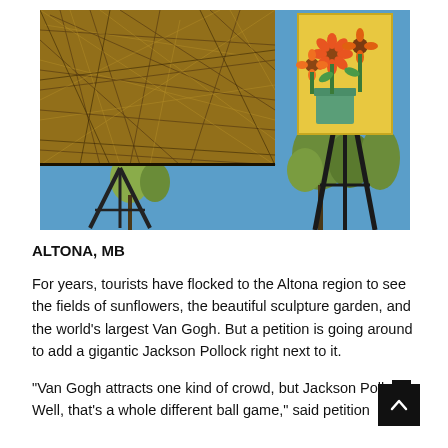[Figure (photo): Composite photograph showing a large tangled dry-grass/straw texture artwork on the left (resembling a Jackson Pollock), and on the right a painting of sunflowers (Van Gogh style) on a large easel against a blue sky with trees in the background. Metal easel legs visible at bottom.]
ALTONA, MB
For years, tourists have flocked to the Altona region to see the fields of sunflowers, the beautiful sculpture garden, and the world’s largest Van Gogh. But a petition is going around to add a gigantic Jackson Pollock right next to it.
“Van Gogh attracts one kind of crowd, but Jackson Pollo… Well, that’s a whole different ball game,” said petition